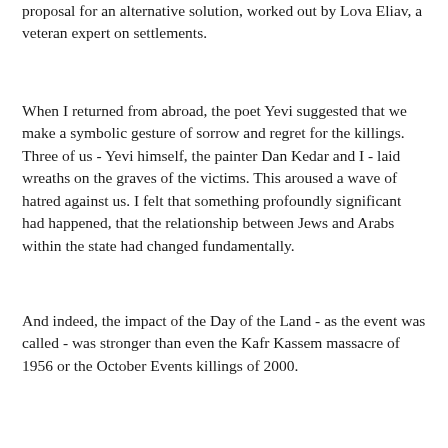proposal for an alternative solution, worked out by Lova Eliav, a veteran expert on settlements.
When I returned from abroad, the poet Yevi suggested that we make a symbolic gesture of sorrow and regret for the killings. Three of us - Yevi himself, the painter Dan Kedar and I - laid wreaths on the graves of the victims. This aroused a wave of hatred against us. I felt that something profoundly significant had happened, that the relationship between Jews and Arabs within the state had changed fundamentally.
And indeed, the impact of the Day of the Land - as the event was called - was stronger than even the Kafr Kassem massacre of 1956 or the October Events killings of 2000.